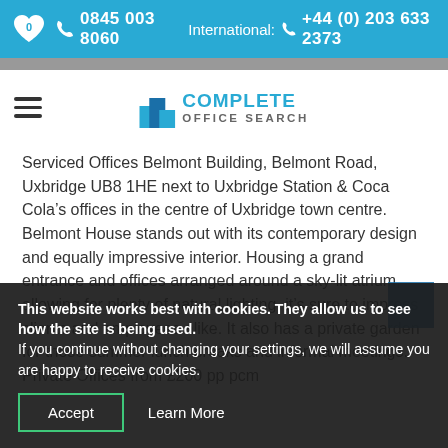0845 003 8060   International: +44 (0) 203 633 2373
[Figure (logo): Complete Office Search logo with building icon]
Serviced Offices Belmont Building, Belmont Road, Uxbridge UB8 1HE next to Uxbridge Station & Coca Cola's offices in the centre of Uxbridge town centre. Belmont House stands out with its contemporary design and equally impressive interior. Housing a grand entrance and offices arranged around a sky-lit atrium, allowing for plenty of natural lighting, it's sure to impress clients and employees alike. It also has a private garden for those summer lunch breaks and informal meetings. Private Offices from £200 pp pcm
This website works best with cookies. They allow us to see how the site is being used.
If you continue without changing your settings, we will assume you are happy to receive cookies.
Accept   Learn More